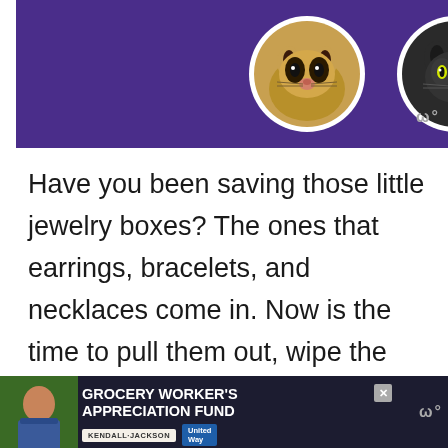[Figure (photo): Purple banner with two cat portraits in white circular frames — a tabby cat on the left and a black cat on the right — against a purple/indigo background]
Have you been saving those little jewelry boxes? The ones that earrings, bracelets, and necklaces come in. Now is the time to pull them out, wipe the inside, and line them with some pretty tissue paper before filling them with a few of your beautiful turtles. You can get quite a few impressive gifts from this one recipe!
[Figure (photo): Advertisement banner: dark navy background with a person in a grocery store apron on the left, bold white text reading GROCERY WORKER'S APPRECIATION FUND, with Kendall-Jackson and United Way logos]